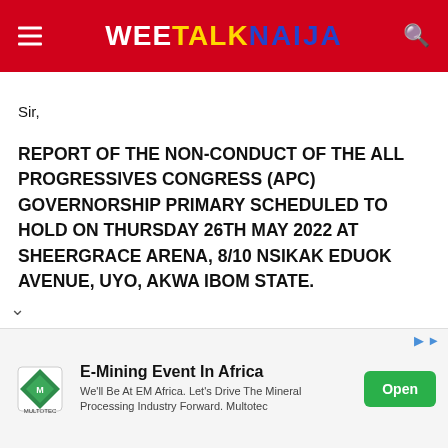WEE TALK NAIJA
Sir,
REPORT OF THE NON-CONDUCT OF THE ALL PROGRESSIVES CONGRESS (APC) GOVERNORSHIP PRIMARY SCHEDULED TO HOLD ON THURSDAY 26TH MAY 2022 AT SHEERGRACE ARENA, 8/10 NSIKAK EDUOK AVENUE, UYO, AKWA IBOM STATE.
We wish to report that the All Progressives Congress (APC) Governorship Primary scheduled to hold on Thursday 26th
[Figure (infographic): Advertisement banner for E-Mining Event In Africa by Multotec. Contains Multotec logo (green diamond shape), text 'E-Mining Event In Africa', 'We'll Be At EM Africa. Let\'s Drive The Mineral Processing Industry Forward. Multotec', and a green 'Open' button.]